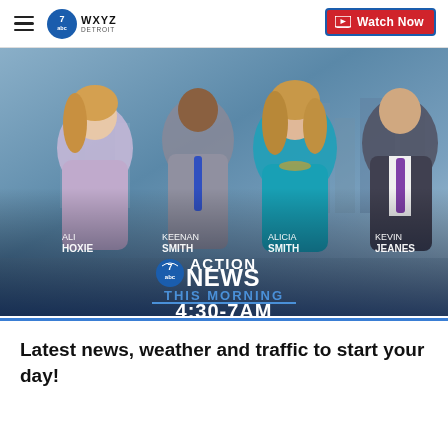WXYZ Detroit — Watch Now
[Figure (photo): Four news anchors (Ali Hoxie, Keenan Smith, Alicia Smith, Kevin Jeanes) posed for a promotional photo for 7 Action News This Morning 4:30-7AM on WXYZ Detroit ABC]
Latest news, weather and traffic to start your day!